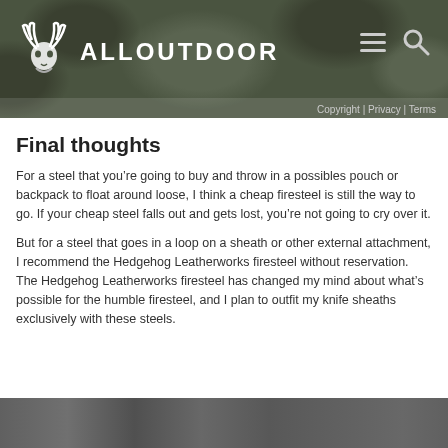ALLOUTDOOR
Copyright | Privacy | Terms
Final thoughts
For a steel that you’re going to buy and throw in a possibles pouch or backpack to float around loose, I think a cheap firesteel is still the way to go. If your cheap steel falls out and gets lost, you’re not going to cry over it.
But for a steel that goes in a loop on a sheath or other external attachment, I recommend the Hedgehog Leatherworks firesteel without reservation. The Hedgehog Leatherworks firesteel has changed my mind about what’s possible for the humble firesteel, and I plan to outfit my knife sheaths exclusively with these steels.
[Figure (photo): Dark blurred background photo strip at bottom of page]